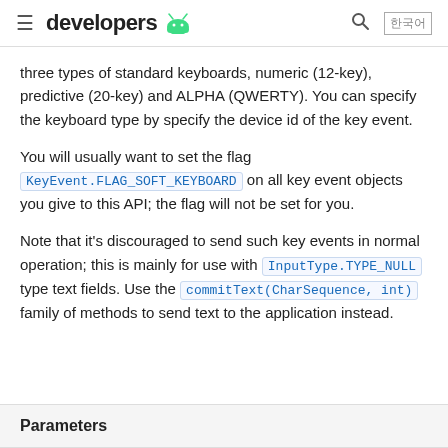developers
three types of standard keyboards, numeric (12-key), predictive (20-key) and ALPHA (QWERTY). You can specify the keyboard type by specify the device id of the key event.
You will usually want to set the flag KeyEvent.FLAG_SOFT_KEYBOARD on all key event objects you give to this API; the flag will not be set for you.
Note that it's discouraged to send such key events in normal operation; this is mainly for use with InputType.TYPE_NULL type text fields. Use the commitText(CharSequence, int) family of methods to send text to the application instead.
Parameters